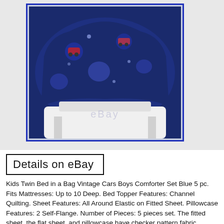[Figure (photo): Kids twin bed comforter set in blue with vintage cars pattern, displayed on a white surface. eBay watermark visible.]
Details on eBay
Kids Twin Bed in a Bag Vintage Cars Boys Comforter Set Blue 5 pc. Fits Mattresses: Up to 10 Deep. Bed Topper Features: Channel Quilting. Sheet Features: All Around Elastic on Fitted Sheet. Pillowcase Features: 2 Self-Flange. Number of Pieces: 5 pieces set. The fitted sheet, the flat sheet, and pillowcase have checker pattern fabric (please pictures). Includes: 1 Fitted Sheet, 1 Sham, Twin Comforter, 1 Flat Sheet, 1 Pillowcase. Fiber Content: 100 % Polyester. Fill Material: 100 % Polyester. Care : Machine Wash Warm Normal, Tumble Dry Low. In a Non-Smoking and Pet Free Environment. The item “Kids Twin Bed in a Bag Vintage Car Boys Comforter Set Blue 5 pc” is in sale since Sunday, October 14, 2018. This item is in the